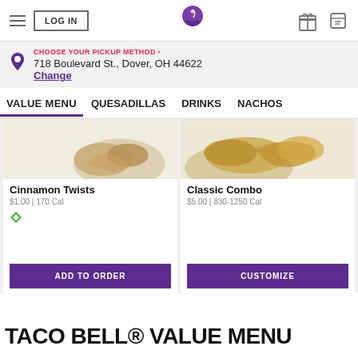LOG IN | Taco Bell logo | gift icon | ticket icon
CHOOSE YOUR PICKUP METHOD › 
718 Boulevard St., Dover, OH 44622
Change
VALUE MENU  QUESADILLAS  DRINKS  NACHOS
[Figure (photo): Cinnamon Twists food image on light background]
Cinnamon Twists
$1.00 | 170 Cal
[Figure (photo): Classic Combo food image on light background]
Classic Combo
$5.00 | 830-1250 Cal
TACO BELL® VALUE MENU